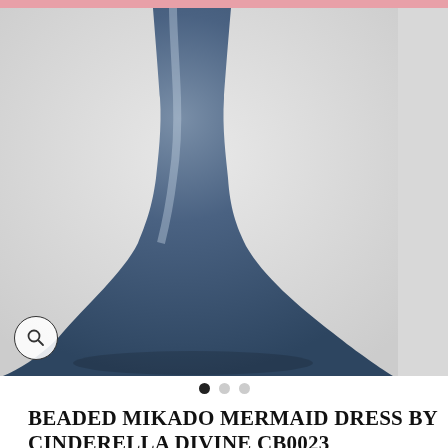[Figure (photo): Product photo of a navy/dark blue satin mermaid dress on a mannequin/model, cropped view showing lower portion of the gown with dramatic flowing skirt. Light grey background. Magnify icon in bottom-left corner of image. Image carousel dot indicators below (3 dots, first filled).]
BEADED MIKADO MERMAID DRESS BY CINDERELLA DIVINE CB0023
CINDERELLA DIVINE  /  LACB0023
$270  $100  Save $170
Pay in 4 interest-free installments of $25.00 with Shop Pay
Learn more
COLOR